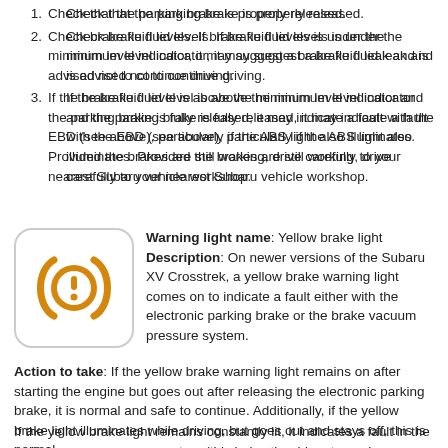Check that the parking brake is properly released.
Check brake fluid levels. If brake fluid levels is under the minimum level indicator, it may suggest a brake fluid leak and is advised not to continue driving.
If the brake fluid level is above the minimum level indicator and the parking brake is fully released, it may indicate a fault with the EBD (see above), particularly if the ABS light also illuminates. Provided the brakes are still working, drive carefully to your nearest Subaru vehicle workshop.
[Figure (illustration): Yellow brake warning light icon: circular brake disc symbol with exclamation mark in orange/amber color, inside a rounded square box]
Warning light name: Yellow brake light
Description: On newer versions of the Subaru XV Crosstrek, a yellow brake warning light comes on to indicate a fault either with the electronic parking brake or the brake vacuum pressure system.
Action to take: If the yellow brake warning light remains on after starting the engine but goes out after releasing the electronic parking brake, it is normal and safe to continue. Additionally, if the yellow brake light illuminates while driving, but goes out and stays off, this is normal.
If the yellow brake light remains constantly lit, it indicates a fault in the brake vacuum pressure system (this helps the driver to apply pressure